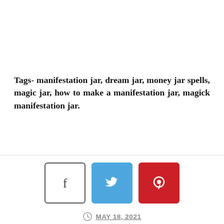Tags- manifestation jar, dream jar, money jar spells, magic jar, how to make a manifestation jar, magick manifestation jar.
[Figure (other): Social share buttons: Facebook (grey border), Twitter (blue), Pinterest (red)]
MAY 18, 2021
[Figure (other): Advertisement banner: Get Your Cosmetic Samples Now! FREE SAMPLES FOR (US) UNITED STATES on yellow background]